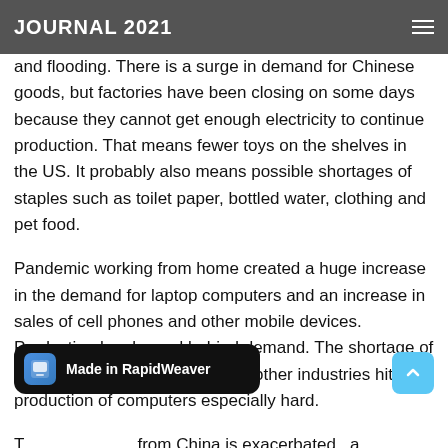JOURNAL 2021
on electricity. In 2019, more than half of China's electricity comes from coal. Coal production is down because of new safety rules, stricter environmental regulations and flooding. There is a surge in demand for Chinese goods, but factories have been closing on some days because they cannot get enough electricity to continue production. That means fewer toys on the shelves in the US. It probably also means possible shortages of staples such as toilet paper, bottled water, clothing and pet food.
Pandemic working from home created a huge increase in the demand for laptop computers and an increase in sales of cell phones and other mobile devices. Production has lagged behind demand. The shortage of computer chips experienced by other industries hits the production of computers especially hard.
T... from China is exacerbated a bottleneck at US ports. About 40% of all shipping ...